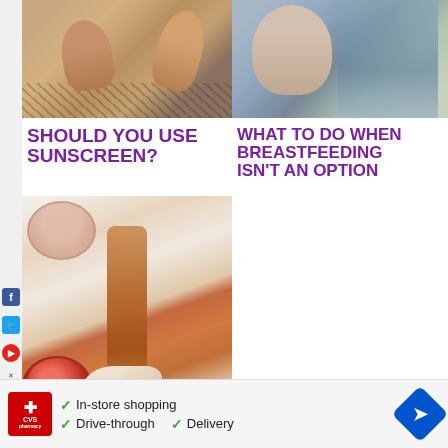[Figure (photo): Close-up of bare feet/legs on a patterned textile surface, sunscreen context]
[Figure (photo): Woman breastfeeding or holding an infant outdoors near water]
SHOULD YOU USE SUNSCREEN?
WHAT TO DO WHEN BREASTFEEDING ISN'T AN OPTION
[Figure (photo): Kombucha bottle and pomegranate on white surface, hands holding drink]
KOMBUCHA HEALTH BENEFITS
[Figure (screenshot): CVS Pharmacy advertisement bar: In-store shopping, Drive-through, Delivery]